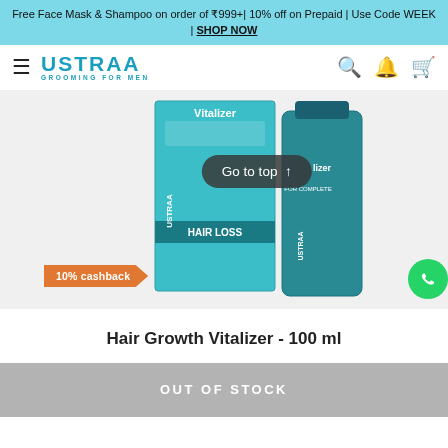Free Face Mask & Shampoo on order of ₹999+| 10% off on Prepaid | Use Code WEEK | SHOP NOW
[Figure (logo): Ustraa brand logo with hamburger menu and navigation icons (search, bell, cart)]
[Figure (photo): Hair Growth Vitalizer 100ml product image showing two teal/green product boxes - one box and one bottle, with 'Vitalizer' and 'HAIR LOSS' text visible. A 'Go to top' button overlays the image. A WhatsApp chat icon appears on the right.]
10% cashback
Hair Growth Vitalizer - 100 ml
OUT OF STOCK